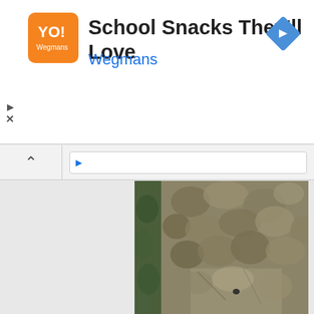[Figure (screenshot): Wegmans advertisement banner: orange square logo with white text on left, large black text 'School Snacks They'll Love', blue text 'Wegmans', blue diamond navigation arrow icon on right, play and close controls at bottom left]
[Figure (photo): Close-up photograph of rough, bumpy tree bark texture with green foliage visible on the left edge and background]